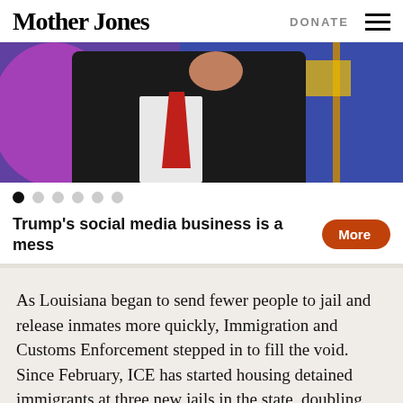Mother Jones | DONATE
[Figure (photo): Photo of a man in a dark suit with a red tie, raising his fist, against a purple/blue background. Appears to be a political event.]
Trump's social media business is a mess More
As Louisiana began to send fewer people to jail and release inmates more quickly, Immigration and Customs Enforcement stepped in to fill the void. Since February, ICE has started housing detained immigrants at three new jails in the state, doubling